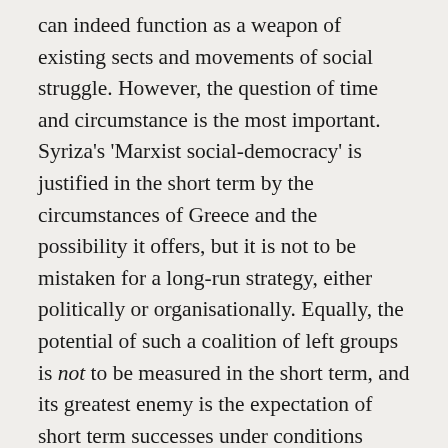can indeed function as a weapon of existing sects and movements of social struggle. However, the question of time and circumstance is the most important. Syriza's 'Marxist social-democracy' is justified in the short term by the circumstances of Greece and the possibility it offers, but it is not to be mistaken for a long-run strategy, either politically or organisationally. Equally, the potential of such a coalition of left groups is not to be measured in the short term, and its greatest enemy is the expectation of short term successes under conditions totally unfavorable to revolutionary militancy. Such expectations have historically in the British left immediately led to demoralization, splintering, and wild shifts of 'line'. Rather, one must combine a longer organisational view with a willingness to adjust